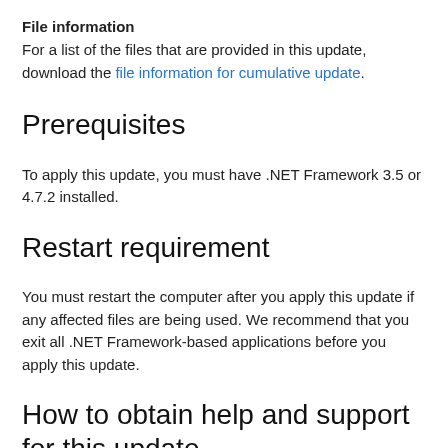File information
For a list of the files that are provided in this update, download the file information for cumulative update.
Prerequisites
To apply this update, you must have .NET Framework 3.5 or 4.7.2 installed.
Restart requirement
You must restart the computer after you apply this update if any affected files are being used. We recommend that you exit all .NET Framework-based applications before you apply this update.
How to obtain help and support for this update